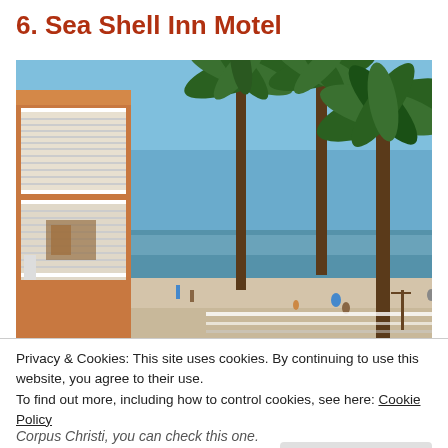6. Sea Shell Inn Motel
[Figure (photo): Exterior view of a beachside motel with palm trees, sandy beach, ocean in background, and blue sky. Multi-story motel building with balconies visible on left side.]
Privacy & Cookies: This site uses cookies. By continuing to use this website, you agree to their use.
To find out more, including how to control cookies, see here: Cookie Policy
Corpus Christi, you can check this one.